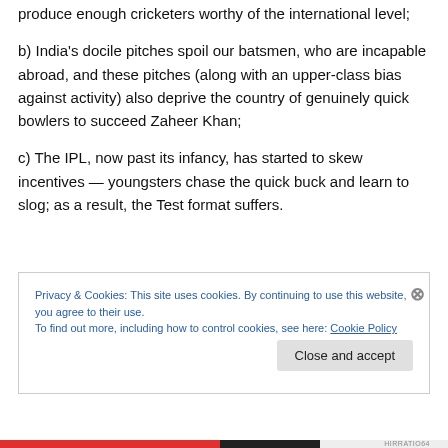produce enough cricketers worthy of the international level;
b) India’s docile pitches spoil our batsmen, who are incapable abroad, and these pitches (along with an upper-class bias against activity) also deprive the country of genuinely quick bowlers to succeed Zaheer Khan;
c) The IPL, now past its infancy, has started to skew incentives — youngsters chase the quick buck and learn to slog; as a result, the Test format suffers.
Privacy & Cookies: This site uses cookies. By continuing to use this website, you agree to their use.
To find out more, including how to control cookies, see here: Cookie Policy